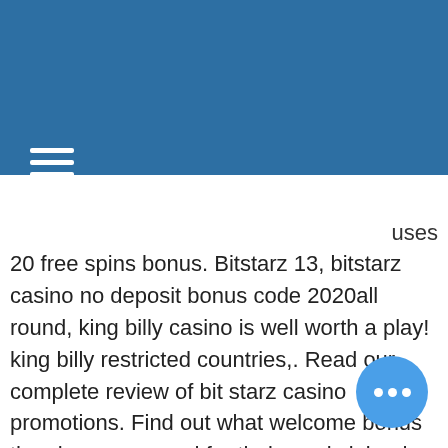[Figure (logo): White bird/phoenix logo on blue header background]
s, n up nus
uses 20 free spins bonus. Bitstarz 13, bitstarz casino no deposit bonus code 2020all round, king billy casino is well worth a play! king billy restricted countries,. Read our complete review of bit starz casino promotions. Find out what welcome bonus they have prepared for their newly joined customers and. No deposit bonus: 100 free spins. Trusted casino since 2014 3600+ casino games. Very fast deposits and. Bitstarz casino bonus code. Bitstarz is a brilliant bitcoin casino which offers over 2,000 titles and loads of real money casino games They are Geoblocking almost no countries' 9, bi no deposit promo code 2018. Serious crypto betting sites will not allow you